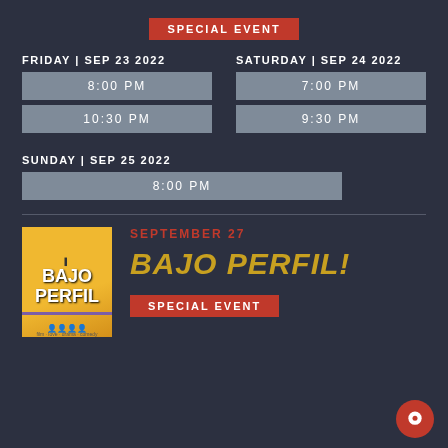SPECIAL EVENT
FRIDAY | SEP 23 2022
8:00 PM
10:30 PM
SATURDAY | SEP 24 2022
7:00 PM
9:30 PM
SUNDAY | SEP 25 2022
8:00 PM
[Figure (photo): Movie poster for Bajo Perfil! on yellow background with cast members]
SEPTEMBER 27
BAJO PERFIL!
SPECIAL EVENT